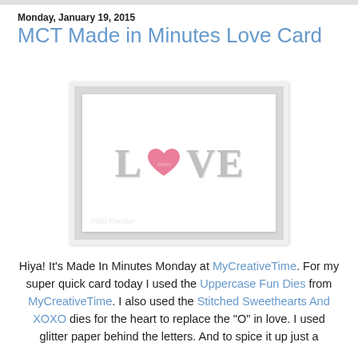Monday, January 19, 2015
MCT Made in Minutes Love Card
[Figure (photo): A handmade love card with the word LOVE spelled out in silver glitter letters, with the O replaced by a pink glittery heart shape. The card is white with a clean design. Photo credited to Nikki Foraker.]
Hiya! It's Made In Minutes Monday at MyCreativeTime. For my super quick card today I used the Uppercase Fun Dies from MyCreativeTime. I also used the Stitched Sweethearts And XOXO dies for the heart to replace the "O" in love. I used glitter paper behind the letters. And to spice it up just a